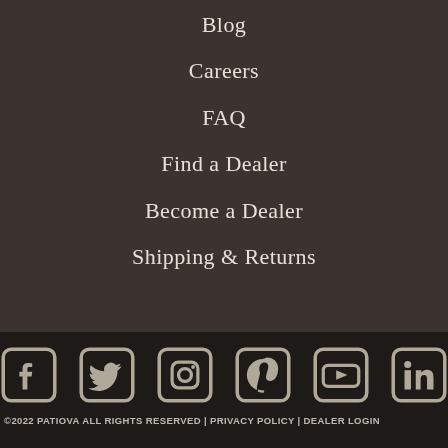Blog
Careers
FAQ
Find a Dealer
Become a Dealer
Shipping & Returns
[Figure (infographic): Row of six social media icons: Facebook, Twitter, Instagram, Pinterest, YouTube, LinkedIn — rendered as rounded square outlines in a muted beige/tan color on dark background]
©2022 PATIOVA ALL RIGHTS RESERVED | PRIVACY POLICY | DEALER LOGIN